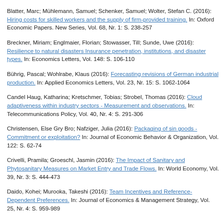Blatter, Marc; Mühlemann, Samuel; Schenker, Samuel; Wolter, Stefan C. (2016): Hiring costs for skilled workers and the supply of firm-provided training. In: Oxford Economic Papers. New Series, Vol. 68, Nr. 1: S. 238-257
Breckner, Miriam; Englmaier, Florian; Stowasser, Till; Sunde, Uwe (2016): Resilience to natural disasters Insurance penetration, institutions, and disaster types. In: Economics Letters, Vol. 148: S. 106-110
Bührig, Pascal; Wohlrabe, Klaus (2016): Forecasting revisions of German industrial production. In: Applied Economics Letters, Vol. 23, Nr. 15: S. 1062-1064
Candel Haug, Katharina; Kretschmer, Tobias; Strobel, Thomas (2016): Cloud adaptiveness within industry sectors - Measurement and observations. In: Telecommunications Policy, Vol. 40, Nr. 4: S. 291-306
Christensen, Else Gry Bro; Nafziger, Julia (2016): Packaging of sin goods - Commitment or exploitation? In: Journal of Economic Behavior & Organization, Vol. 122: S. 62-74
Crivelli, Pramila; Groeschl, Jasmin (2016): The Impact of Sanitary and Phytosanitary Measures on Market Entry and Trade Flows. In: World Economy, Vol. 39, Nr. 3: S. 444-473
Daido, Kohei; Murooka, Takeshi (2016): Team Incentives and Reference-Dependent Preferences. In: Journal of Economics & Management Strategy, Vol. 25, Nr. 4: S. 959-989